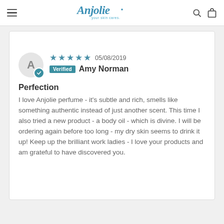Anjolie — your skin cares. (navigation bar with logo, hamburger menu, search and bag icons)
[Figure (screenshot): Sort/filter dropdown stub at top right of review section]
★★★★★ 05/08/2019  Verified  Amy Norman
Perfection
I love Anjolie perfume - it's subtle and rich, smells like something authentic instead of just another scent. This time I also tried a new product - a body oil - which is divine. I will be ordering again before too long - my dry skin seems to drink it up! Keep up the brilliant work ladies - I love your products and am grateful to have discovered you.